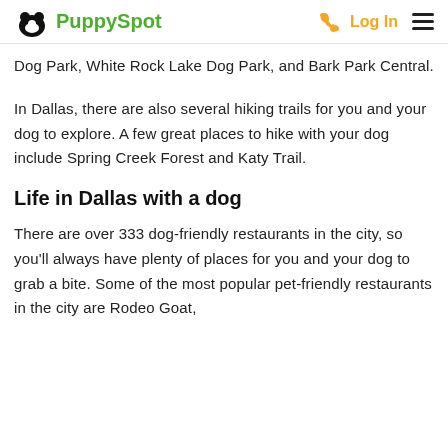PuppySpot  Log In
Dog Park, White Rock Lake Dog Park, and Bark Park Central.
In Dallas, there are also several hiking trails for you and your dog to explore. A few great places to hike with your dog include Spring Creek Forest and Katy Trail.
Life in Dallas with a dog
There are over 333 dog-friendly restaurants in the city, so you'll always have plenty of places for you and your dog to grab a bite. Some of the most popular pet-friendly restaurants in the city are Rodeo Goat,